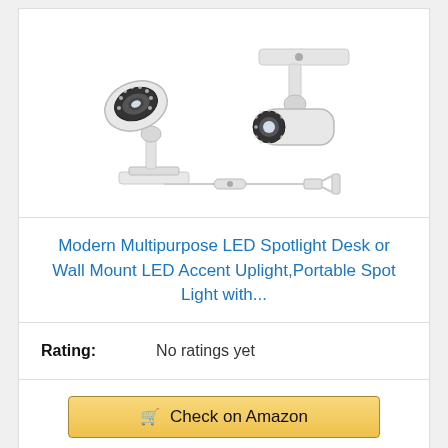[Figure (photo): Two white LED spotlight fixtures with adjustable heads, shown with a power cord and inline switch plug]
Modern Multipurpose LED Spotlight Desk or Wall Mount LED Accent Uplight,Portable Spot Light with...
Rating: No ratings yet
Check on Amazon
Bestseller No. 11